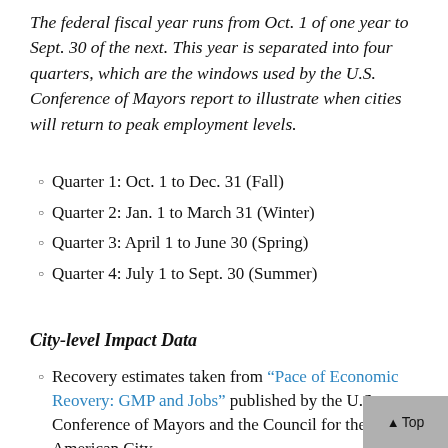The federal fiscal year runs from Oct. 1 of one year to Sept. 30 of the next. This year is separated into four quarters, which are the windows used by the U.S. Conference of Mayors report to illustrate when cities will return to peak employment levels.
Quarter 1: Oct. 1 to Dec. 31 (Fall)
Quarter 2: Jan. 1 to March 31 (Winter)
Quarter 3: April 1 to June 30 (Spring)
Quarter 4: July 1 to Sept. 30 (Summer)
City-level Impact Data
Recovery estimates taken from “Pace of Economic Reovery: GMP and Jobs” published by the U.S. Conference of Mayors and the Council for the New American City.